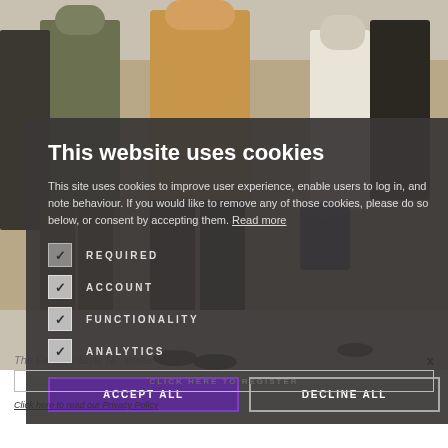[Figure (photo): Background photo of a crowd of people walking on a street, partially obscured by cookie consent overlay]
This website uses cookies
This site uses cookies to improve user experience, enable users to log in, and note behaviour. If you would like to remove any of those cookies, please do so below, or consent by accepting them. Read more
REQUIRED (checked)
ACCOUNT (checked)
FUNCTIONALITY (checked)
ANALYTICS (checked)
ACCEPT ALL | DECLINE ALL
CLICK HERE TO REGISTER
Click here to read our Privacy Policy